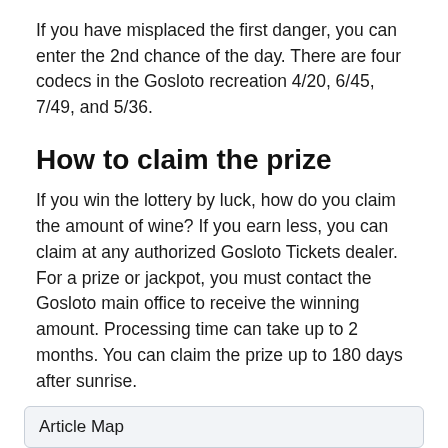If you have misplaced the first danger, you can enter the 2nd chance of the day. There are four codecs in the Gosloto recreation 4/20, 6/45, 7/49, and 5/36.
How to claim the prize
If you win the lottery by luck, how do you claim the amount of wine? If you earn less, you can claim at any authorized Gosloto Tickets dealer. For a prize or jackpot, you must contact the Gosloto main office to receive the winning amount. Processing time can take up to 2 months. You can claim the prize up to 180 days after sunrise.
Article Map